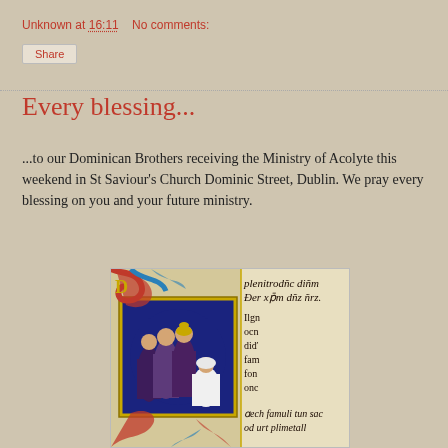Unknown at 16:11   No comments:
Share
Every blessing...
...to our Dominican Brothers receiving the Ministry of Acolyte this weekend in St Saviour's Church Dominic Street, Dublin. We pray every blessing on you and your future ministry.
[Figure (illustration): Medieval illuminated manuscript page showing robed figures (Dominican friars) gathered around an altar, with ornate blue and red decorative borders and Gothic script text visible on the right side. Latin text visible includes partial words.]